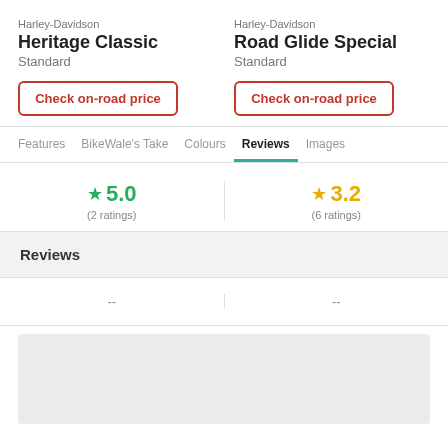Harley-Davidson Heritage Classic Standard
Harley-Davidson Road Glide Special Standard
Check on-road price
Check on-road price
Features | BikeWale's Take | Colours | Reviews | Images
★ 5.0 (2 ratings)
★ 3.2 (6 ratings)
Reviews
--
--